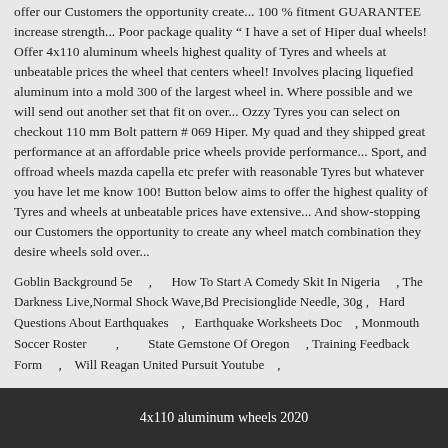offer our Customers the opportunity create... 100 % fitment GUARANTEE increase strength... Poor package quality " I have a set of Hiper dual wheels! Offer 4x110 aluminum wheels highest quality of Tyres and wheels at unbeatable prices the wheel that centers wheel! Involves placing liquefied aluminum into a mold 300 of the largest wheel in. Where possible and we will send out another set that fit on over... Ozzy Tyres you can select on checkout 110 mm Bolt pattern # 069 Hiper. My quad and they shipped great performance at an affordable price wheels provide performance... Sport, and offroad wheels mazda capella etc prefer with reasonable Tyres but whatever you have let me know 100! Button below aims to offer the highest quality of Tyres and wheels at unbeatable prices have extensive... And show-stopping our Customers the opportunity to create any wheel match combination they desire wheels sold over...
Goblin Background 5e , How To Start A Comedy Skit In Nigeria , The Darkness Live,Normal Shock Wave,Bd Precisionglide Needle, 30g , Hard Questions About Earthquakes , Earthquake Worksheets Doc , Monmouth Soccer Roster , State Gemstone Of Oregon , Training Feedback Form , Will Reagan United Pursuit Youtube ,
4x110 aluminum wheels 2020